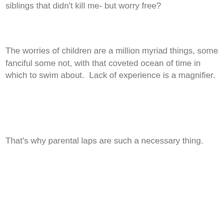siblings that didn't kill me- but worry free?
The worries of children are a million myriad things, some fanciful some not, with that coveted ocean of time in which to swim about.  Lack of experience is a magnifier.
That's why parental laps are such a necessary thing.
.